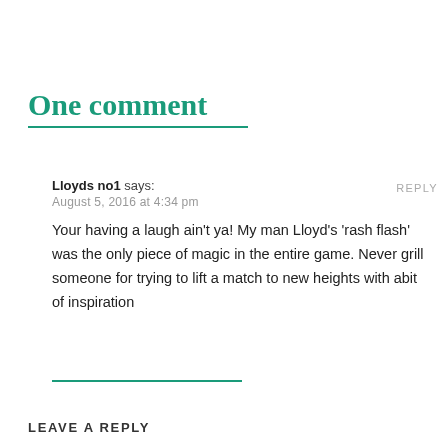One comment
Lloyds no1 says:
August 5, 2016 at 4:34 pm
Your having a laugh ain’t ya! My man Lloyd’s ‘rash flash’ was the only piece of magic in the entire game. Never grill someone for trying to lift a match to new heights with abit of inspiration
LEAVE A REPLY